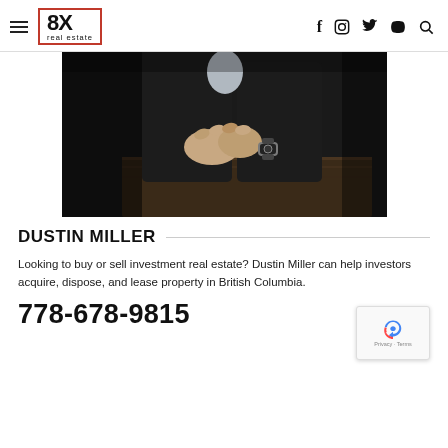8X real estate — navigation header with social icons (f, Instagram, Twitter, YouTube, Search)
[Figure (photo): Dark photo of a person in a suit, seated, with clasped hands and a watch visible on their wrist, dark background.]
DUSTIN MILLER
Looking to buy or sell investment real estate? Dustin Miller can help investors acquire, dispose, and lease property in British Columbia.
778-678-9815